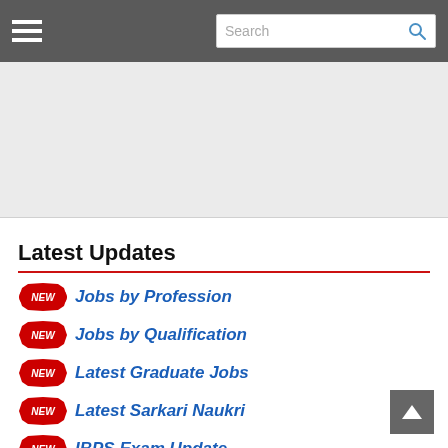Navigation bar with hamburger menu and search box
[Figure (other): Advertisement banner area (gray background)]
Latest Updates
Jobs by Profession
Jobs by Qualification
Latest Graduate Jobs
Latest Sarkari Naukri
IBPS Exam Update
Latest Police Jobs